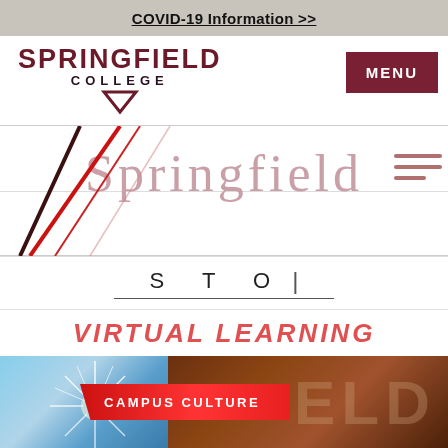COVID-19 Information >>
[Figure (logo): Springfield College logo with SPRINGFIELD COLLEGE text and downward triangle symbol]
MENU
[Figure (illustration): Diagonal red and dark lines crossing over white background with large light pink Springfield text and hamburger menu icon]
Springfield
S T O |
VIRTUAL LEARNING
[Figure (photo): Campus culture section showing sunburst photo on left and brick building letters ELD on right with red Campus Culture banner overlay]
CAMPUS CULTURE